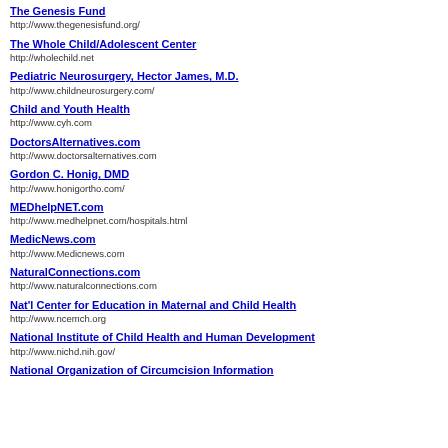The Genesis Fund
http://www.thegenesisfund.org/
The Whole Child/Adolescent Center
http://wholechild.net
Pediatric Neurosurgery, Hector James, M.D.
http://www.childneurosurgery.com/
Child and Youth Health
http://www.cyh.com
DoctorsAlternatives.com
http://www.doctorsalternatives.com
Gordon C. Honig, DMD
http://www.honigortho.com/
MEDhelpNET.com
http://www.medhelpnet.com/hospitals.html
MedicNews.com
http://www.Medicnews.com
NaturalConnections.com
http://www.naturalconnections.com
Nat'l Center for Education in Maternal and Child Health
http://www.ncemch.org
National Institute of Child Health and Human Development
http://www.nichd.nih.gov/
National Organization of Circumcision Information